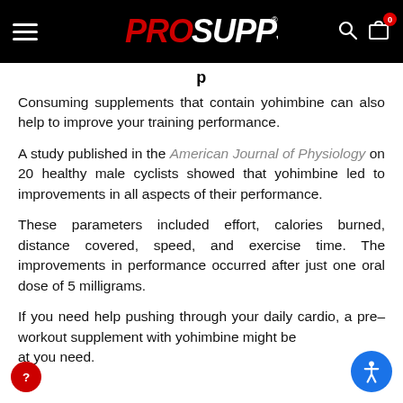ProSupps navigation bar with logo, search, and cart icons
Consuming supplements that contain yohimbine can also help to improve your training performance.
A study published in the American Journal of Physiology on 20 healthy male cyclists showed that yohimbine led to improvements in all aspects of their performance.
These parameters included effort, calories burned, distance covered, speed, and exercise time. The improvements in performance occurred after just one oral dose of 5 milligrams.
If you need help pushing through your daily cardio, a pre-workout supplement with yohimbine might be what you need.